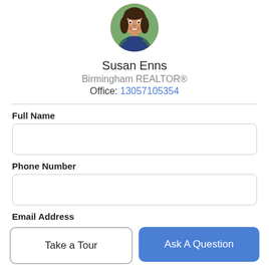[Figure (photo): Circular profile photo of a woman with dark hair, smiling, with green foliage background]
Susan Enns
Birmingham REALTOR®
Office: 13057105354
Full Name
Phone Number
Email Address
Take a Tour
Ask A Question